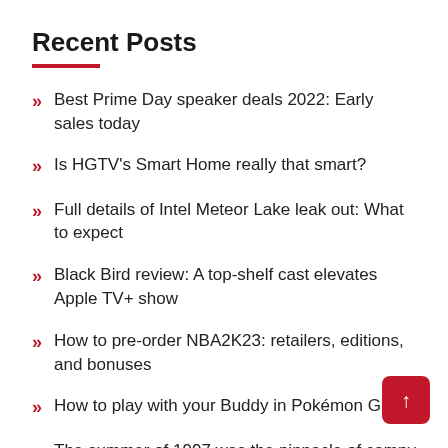Recent Posts
Best Prime Day speaker deals 2022: Early sales today
Is HGTV's Smart Home really that smart?
Full details of Intel Meteor Lake leak out: What to expect
Black Bird review: A top-shelf cast elevates Apple TV+ show
How to pre-order NBA2K23: retailers, editions, and bonuses
How to play with your Buddy in Pokémon G…
The summer of 1997 was the pinnacle of campy action movies